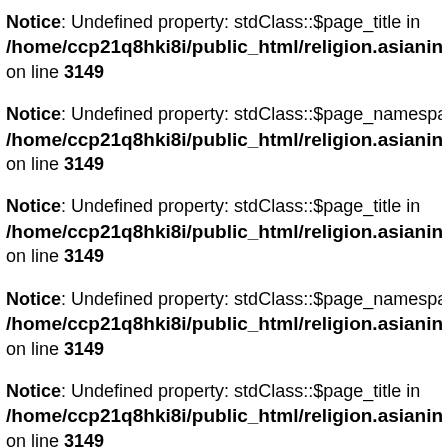Notice: Undefined property: stdClass::$page_title in /home/ccp21q8hki8i/public_html/religion.asianindexing.com on line 3149
Notice: Undefined property: stdClass::$page_namespace in /home/ccp21q8hki8i/public_html/religion.asianindexing.com on line 3149
Notice: Undefined property: stdClass::$page_title in /home/ccp21q8hki8i/public_html/religion.asianindexing.com on line 3149
Notice: Undefined property: stdClass::$page_namespace in /home/ccp21q8hki8i/public_html/religion.asianindexing.com on line 3149
Notice: Undefined property: stdClass::$page_title in /home/ccp21q8hki8i/public_html/religion.asianindexing.com on line 3149